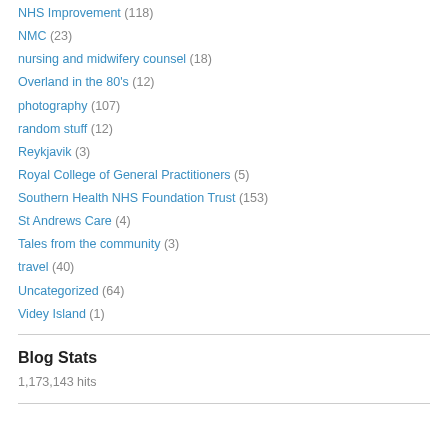NHS Improvement (118)
NMC (23)
nursing and midwifery counsel (18)
Overland in the 80's (12)
photography (107)
random stuff (12)
Reykjavik (3)
Royal College of General Practitioners (5)
Southern Health NHS Foundation Trust (153)
St Andrews Care (4)
Tales from the community (3)
travel (40)
Uncategorized (64)
Videy Island (1)
Blog Stats
1,173,143 hits